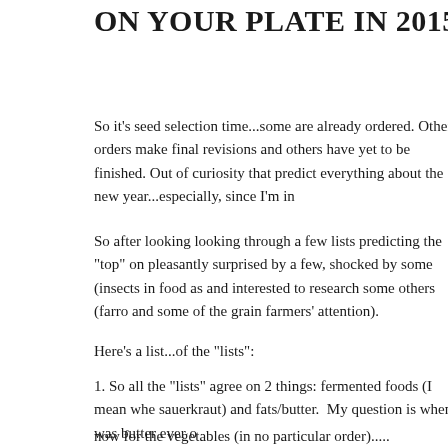ON YOUR PLATE IN 2015
So it's seed selection time...some are already ordered. Other orders make final revisions and others have yet to be finished. Out of curiosity that predict everything about the new year...especially, since I'm in
So after looking looking through a few lists predicting the "top" on pleasantly surprised by a few, shocked by some (insects in food as and interested to research some others (farro and some of the grain farmers' attention).
Here's a list...of the "lists":
1. So all the "lists" agree on 2 things: fermented foods (I mean whe sauerkraut) and fats/butter.  My question is when was butter ever o
now for the vegetables (in no particular order).....